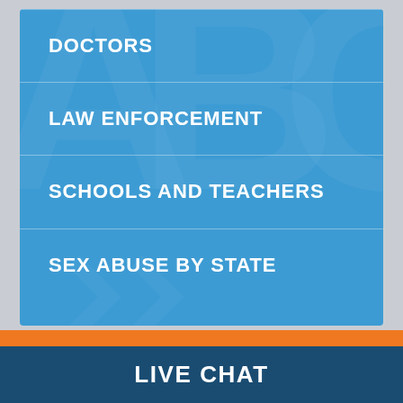DOCTORS
LAW ENFORCEMENT
SCHOOLS AND TEACHERS
SEX ABUSE BY STATE
LIVE CHAT